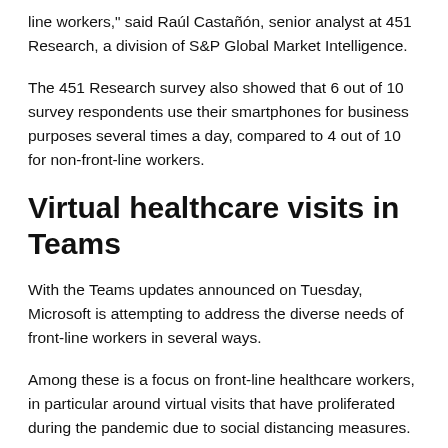line workers," said Raúl Castañón, senior analyst at 451 Research, a division of S&P Global Market Intelligence.
The 451 Research survey also showed that 6 out of 10 survey respondents use their smartphones for business purposes several times a day, compared to 4 out of 10 for non-front-line workers.
Virtual healthcare visits in Teams
With the Teams updates announced on Tuesday, Microsoft is attempting to address the diverse needs of front-line workers in several ways.
Among these is a focus on front-line healthcare workers, in particular around virtual visits that have proliferated during the pandemic due to social distancing measures.